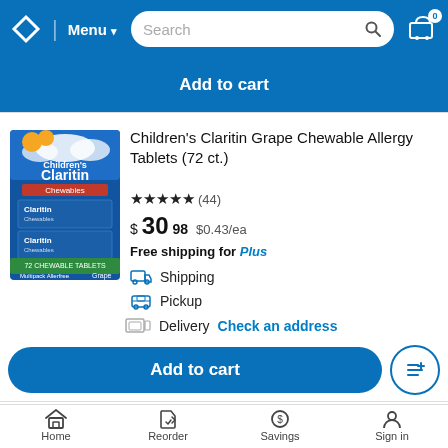Menu | Search | Cart 0
Add to cart
[Figure (photo): Children's Claritin Grape Chewable Allergy Tablets 72 count product box]
Children's Claritin Grape Chewable Allergy Tablets (72 ct.)
★★★★★ (44)
$30.98  $0.43/ea
Free shipping for Plus
Shipping
Pickup
Delivery  Check an address
Add to cart
Pedia Care Kids Throat Soothing P...
Home  Reorder  Savings  Sign in